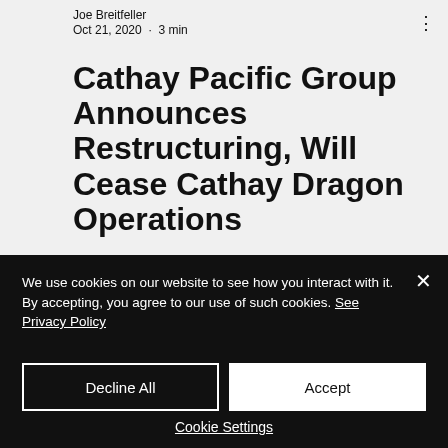Joe Breitfeller
Oct 21, 2020 · 3 min
Cathay Pacific Group Announces Restructuring, Will Cease Cathay Dragon Operations
As a result of the impact of the global COVID-19 pandemic, the airline will
We use cookies on our website to see how you interact with it. By accepting, you agree to our use of such cookies. See Privacy Policy
Decline All
Accept
Cookie Settings